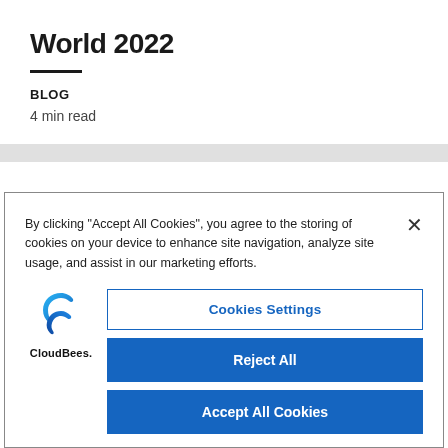World 2022
BLOG
4 min read
By clicking “Accept All Cookies”, you agree to the storing of cookies on your device to enhance site navigation, analyze site usage, and assist in our marketing efforts.
[Figure (logo): CloudBees logo: two interlocking C-shapes in blue gradient, with 'CloudBees.' text below]
Cookies Settings
Reject All
Accept All Cookies